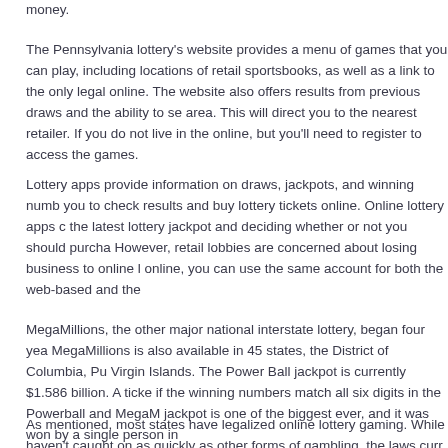money.
The Pennsylvania lottery's website provides a menu of games that you can play, including locations of retail sportsbooks, as well as a link to the only legal online. The website also offers results from previous draws and the ability to search for retailers in your area. This will direct you to the nearest retailer. If you do not live in the state, you can play online, but you'll need to register to access the games.
Lottery apps provide information on draws, jackpots, and winning numbers. They also allow you to check results and buy lottery tickets online. Online lottery apps can be helpful for tracking the latest lottery jackpot and deciding whether or not you should purchase a lottery ticket. However, retail lobbies are concerned about losing business to online lottery sales. If you buy online, you can use the same account for both the web-based and the mobile version.
MegaMillions, the other major national interstate lottery, began four years after Powerball. MegaMillions is also available in 45 states, the District of Columbia, Puerto Rico, and the Virgin Islands. The Power Ball jackpot is currently $1.586 billion. A ticket will win a jackpot if the winning numbers match all six digits in the Powerball and MegaMillions. The $1.586 billion jackpot is one of the biggest ever, and it was won by a single person in
As mentioned, most states have legalized online lottery gaming. While haven't caught on as quickly as other forms of gambling, the laws curr